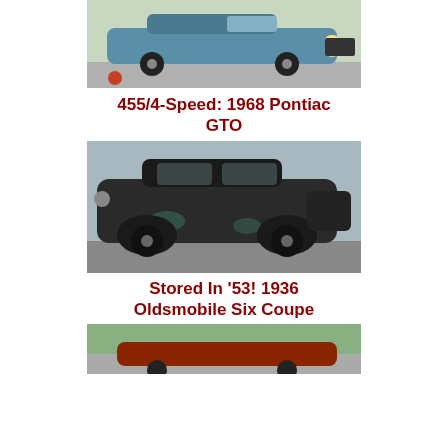[Figure (photo): Blue 1968 Pontiac GTO muscle car photographed from the front-side angle on a road with green foliage in background]
455/4-Speed: 1968 Pontiac GTO
[Figure (photo): Black 1936 Oldsmobile Six Coupe photographed from the rear-side angle inside a storage building, showing patina and aged paint]
Stored In ’53! 1936 Oldsmobile Six Coupe
[Figure (photo): Partial view of a third classic car, cropped at bottom of page]